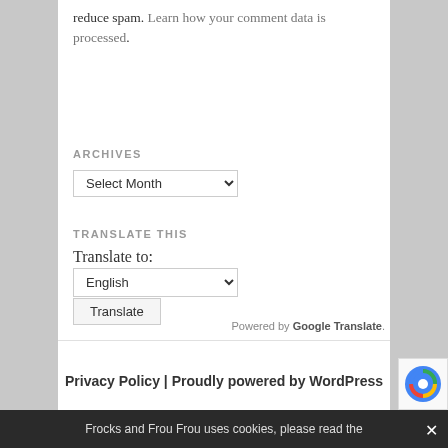reduce spam. Learn how your comment data is processed.
ARCHIVES
Select Month (dropdown)
TRANSLATE THIS
Translate to:
English (dropdown)
Translate (button)
Powered by Google Translate.
Privacy Policy | Proudly powered by WordPress
Frocks and Frou Frou uses cookies, please read the